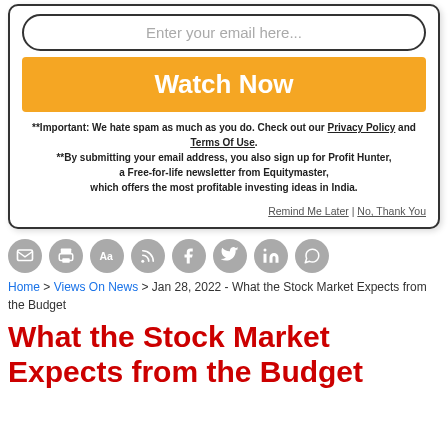[Figure (screenshot): Email subscription modal with input field, Watch Now orange button, disclaimer text, and Remind Me Later / No Thank You links]
[Figure (infographic): Row of 8 gray circular social/action icon buttons: message, print, font size, RSS, Facebook, Twitter, LinkedIn, WhatsApp]
Home > Views On News > Jan 28, 2022 - What the Stock Market Expects from the Budget
What the Stock Market Expects from the Budget